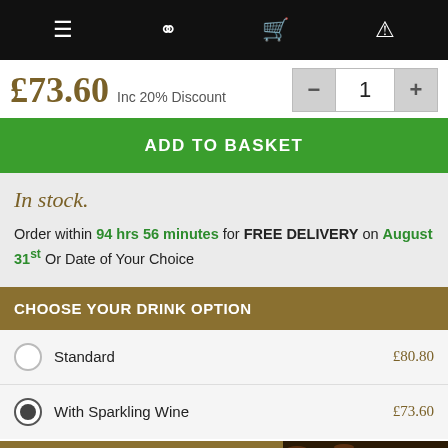Navigation bar with menu, search, cart, and account icons
£73.60 Inc 20% Discount
ADD TO BASKET
In stock.
Order within 94 hrs 56 minutes for FREE DELIVERY on August 31st Or Date of Your Choice
CHOOSE YOUR DRINK OPTION
Standard £80.80
With Sparkling Wine £73.60
Sending to Multiple Addresses?